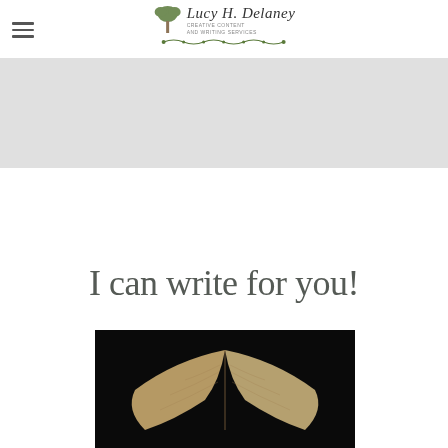[Figure (logo): Lucy H. Delaney logo with tree illustration, cursive name, and subtitle text, with decorative vine beneath]
[Figure (photo): Gray hero banner area placeholder]
I can write for you!
[Figure (photo): Close-up photo of an open book with pages fanned out forming a heart or arch shape, dark background]